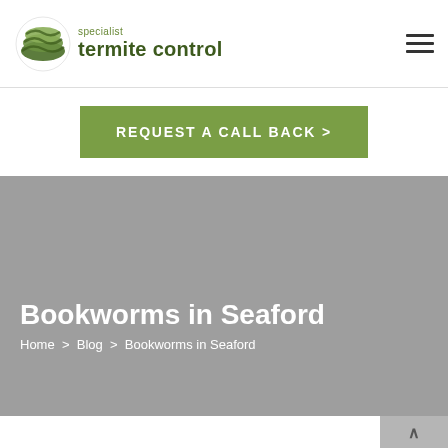[Figure (logo): Specialist Termite Control logo with circular green wave icon and company name]
REQUEST A CALL BACK >
Bookworms in Seaford
Home > Blog > Bookworms in Seaford